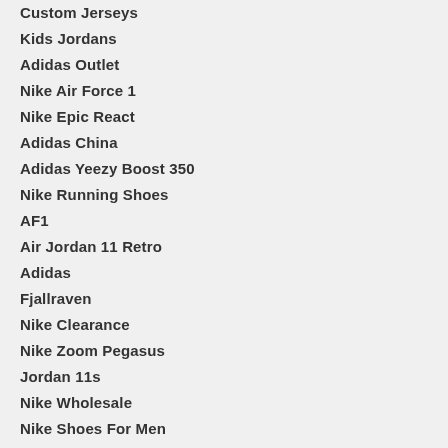Custom Jerseys
Kids Jordans
Adidas Outlet
Nike Air Force 1
Nike Epic React
Adidas China
Adidas Yeezy Boost 350
Nike Running Shoes
AF1
Air Jordan 11 Retro
Adidas
Fjallraven
Nike Clearance
Nike Zoom Pegasus
Jordan 11s
Nike Wholesale
Nike Shoes For Men
Nike Cortez Women
Jordan 32
Jordan 14
Christian Louboutin Outlet
Pandora Jewelry
Nike Shoes